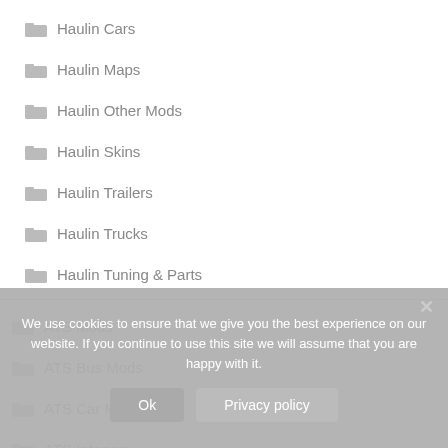Haulin Cars
Haulin Maps
Haulin Other Mods
Haulin Skins
Haulin Trailers
Haulin Trucks
Haulin Tuning & Parts
ATS Mods
ATS Bus Mods
ATS Car Mods
ATS Interiors
We use cookies to ensure that we give you the best experience on our website. If you continue to use this site we will assume that you are happy with it.
Ok
Privacy policy